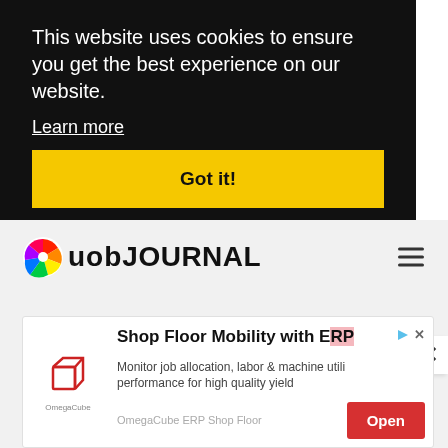This website uses cookies to ensure you get the best experience on our website.
Learn more
Got it!
[Figure (logo): uob Journal logo with colorful pinwheel/spiral graphic next to bold text reading uob JOURNAL]
×
[Figure (infographic): Advertisement: Shop Floor Mobility with ERP - Monitor job allocation, labor & machine utilization performance for high quality yield. OmegaCube ERP Shop Floor. Open button.]